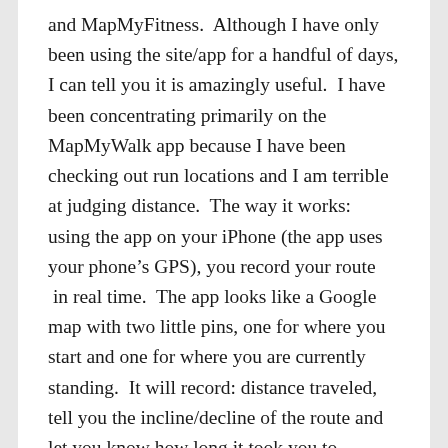and MapMyFitness.  Although I have only been using the site/app for a handful of days, I can tell you it is amazingly useful.  I have been concentrating primarily on the MapMyWalk app because I have been checking out run locations and I am terrible at judging distance.  The way it works:  using the app on your iPhone (the app uses your phone’s GPS), you record your route  in real time.  The app looks like a Google map with two little pins, one for where you start and one for where you are currently standing.  It will record: distance traveled, tell you the incline/decline of the route and let you know how long it took you to complete.  Once you finish recording the route, you select “save” and it can be uploaded to the site and you will be able to access it from your laptop.